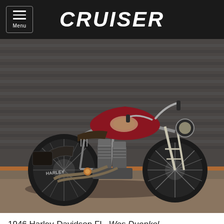CRUISER
[Figure (photo): A vintage 1946 Harley-Davidson FL bobber motorcycle with a deep red/maroon fuel tank, chrome springer front forks, V-twin engine, and worn patina finish, photographed against a corrugated metal garage door backdrop on a concrete floor.]
1946 Harley-Davidson FL  Wes Duenkel